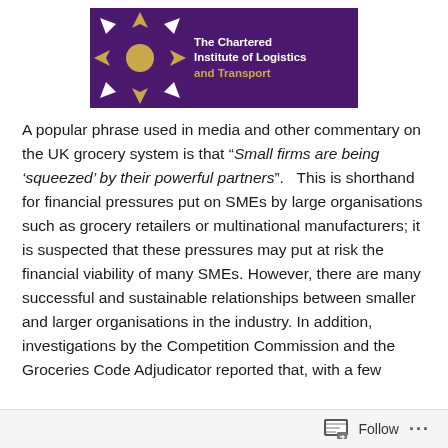[Figure (logo): The Chartered Institute of Logistics and Transport logo — purple rectangle with gold/white compass-rose icon on left and white/gold text on right]
A popular phrase used in media and other commentary on the UK grocery system is that “Small firms are being ‘squeezed’ by their powerful partners”.   This is shorthand for financial pressures put on SMEs by large organisations such as grocery retailers or multinational manufacturers; it is suspected that these pressures may put at risk the financial viability of many SMEs. However, there are many successful and sustainable relationships between smaller and larger organisations in the industry. In addition, investigations by the Competition Commission and the Groceries Code Adjudicator reported that, with a few